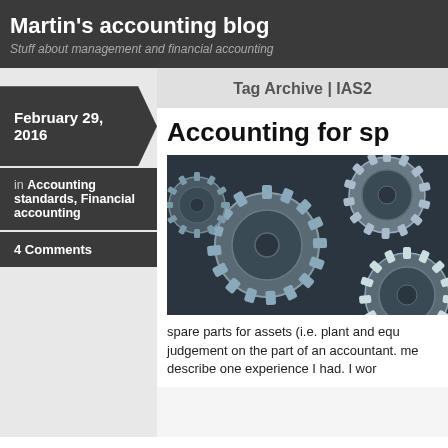Martin's accounting blog
Stuff about management and financial accounting
Tag Archive | IAS2
February 29, 2016
in Accounting standards, Financial accounting
4 Comments
Accounting for sp
[Figure (photo): Black and white photograph of industrial metal gear cogs/sprockets interlocked together]
spare parts for assets (i.e. plant and equ judgement on the part of an accountant. me describe one experience I had. I wor